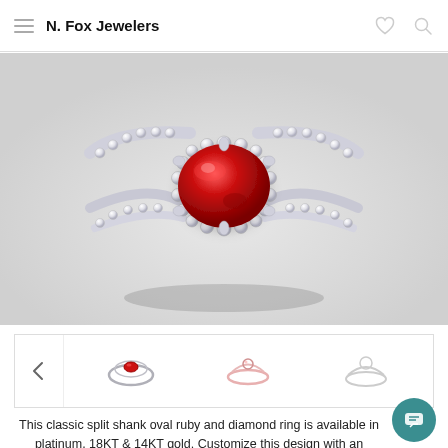N. Fox Jewelers
[Figure (photo): Close-up 3D render of a split shank oval ruby and diamond halo ring in white metal, featuring a large oval red ruby center stone surrounded by a diamond halo, with pavé diamonds along the double split shank bands.]
[Figure (photo): Thumbnail: top-down view of the ruby ring showing the red ruby from above.]
[Figure (photo): Thumbnail: side profile view of the ring outline in light pink/rose tone.]
[Figure (photo): Thumbnail: simple outline/silhouette side view of the ring in light gray.]
This classic split shank oval ruby and diamond ring is available in platinum, 18KT & 14KT gold. Customize this design with an Authorized Fana